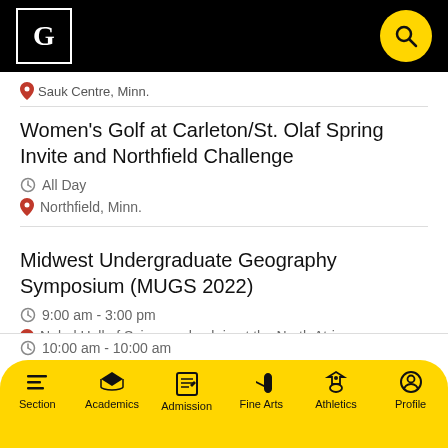G [logo] [search button]
Sauk Centre, Minn.
Women's Golf at Carleton/St. Olaf Spring Invite and Northfield Challenge
All Day
Northfield, Minn.
Midwest Undergraduate Geography Symposium (MUGS 2022)
9:00 am - 3:00 pm
Nobel Hall of Science, check-in at the North Atrium
Section | Academics | Admission | Fine Arts | Athletics | Profile
10:00 am - 10:00 am